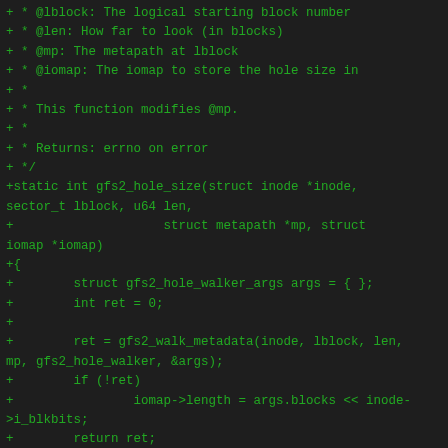Code diff showing gfs2_hole_size function and gfs2_stuffed_iomap function in C, with added lines in green and context lines in white, and a diff hunk header in orange.